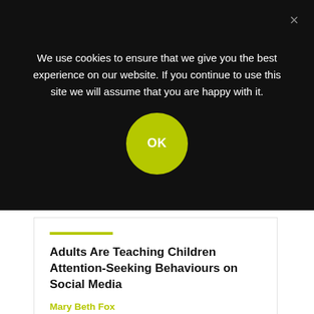We use cookies to ensure that we give you the best experience on our website. If you continue to use this site we will assume that you are happy with it.
OK
Adults Are Teaching Children Attention-Seeking Behaviours on Social Media
Mary Beth Fox
YOU MIGHT ALSO BE INTERESTED IN